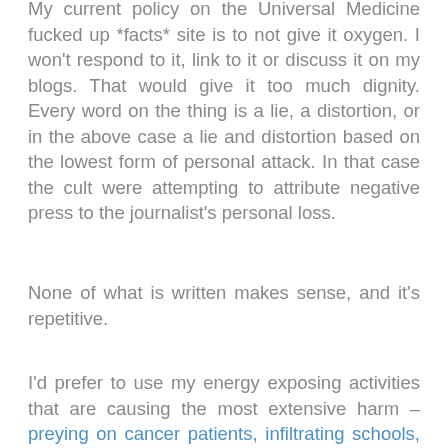My current policy on the Universal Medicine fucked up *facts* site is to not give it oxygen. I won't respond to it, link to it or discuss it on my blogs. That would give it too much dignity. Every word on the thing is a lie, a distortion, or in the above case a lie and distortion based on the lowest form of personal attack. In that case the cult were attempting to attribute negative press to the journalist's personal loss.
None of what is written makes sense, and it's repetitive.
I'd prefer to use my energy exposing activities that are causing the most extensive harm – preying on cancer patients, infiltrating schools, health professionals promoting an abusive organization,